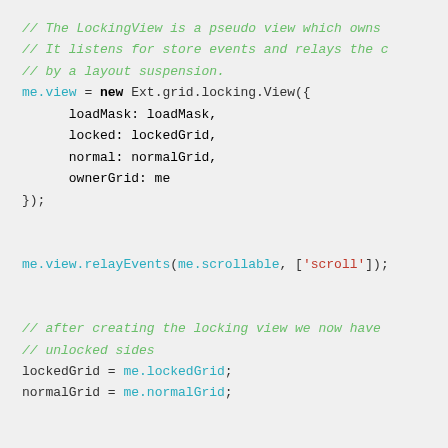// The LockingView is a pseudo view which owns
// It listens for store events and relays the c
// by a layout suspension.
me.view = new Ext.grid.locking.View({
    loadMask: loadMask,
    locked: lockedGrid,
    normal: normalGrid,
    ownerGrid: me
});

me.view.relayEvents(me.scrollable, ['scroll']);

// after creating the locking view we now have
// unlocked sides
lockedGrid = me.lockedGrid;
normalGrid = me.normalGrid;

// View has to be moved back into the panel dur
lockedGrid.on({
    beginfloat: me.onBeginLockedFloat,
    endfloat: me.onEndLockedFloat,
    scope: me
});